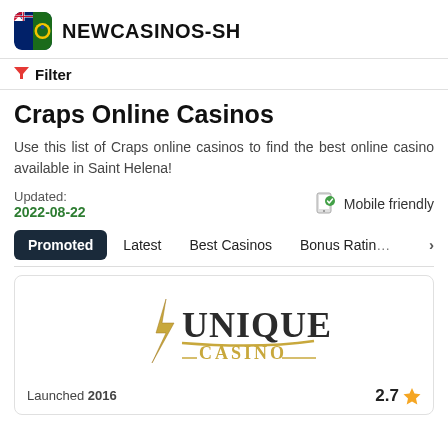NEWCASINOS-SH
Filter
Craps Online Casinos
Use this list of Craps online casinos to find the best online casino available in Saint Helena!
Updated: 2022-08-22    Mobile friendly
Promoted
Latest
Best Casinos
Bonus Rating
[Figure (logo): Unique Casino logo — stylized text with lightning bolt and swash]
Launched 2016    2.7 ★